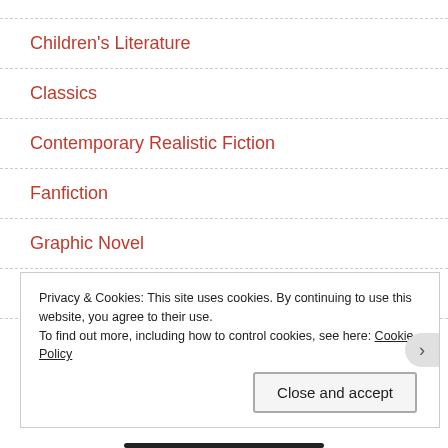Children's Literature
Classics
Contemporary Realistic Fiction
Fanfiction
Graphic Novel
Historical Fiction
Image
Privacy & Cookies: This site uses cookies. By continuing to use this website, you agree to their use.
To find out more, including how to control cookies, see here: Cookie Policy
Close and accept